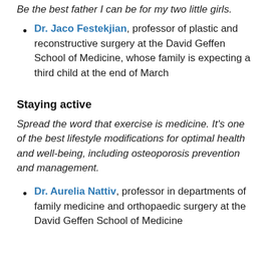Be the best father I can be for my two little girls.
Dr. Jaco Festekjian, professor of plastic and reconstructive surgery at the David Geffen School of Medicine, whose family is expecting a third child at the end of March
Staying active
Spread the word that exercise is medicine. It’s one of the best lifestyle modifications for optimal health and well-being, including osteoporosis prevention and management.
Dr. Aurelia Nattiv, professor in departments of family medicine and orthopaedic surgery at the David Geffen School of Medicine